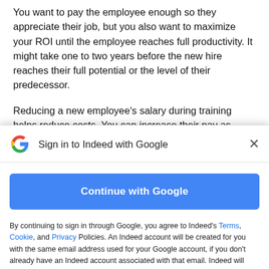You want to pay the employee enough so they appreciate their job, but you also want to maximize your ROI until the employee reaches full productivity. It might take one to two years before the new hire reaches their full potential or the level of their predecessor.
Reducing a new employee's salary during training helps reduce costs. You can increase their pay as
[Figure (screenshot): Google Sign-in modal dialog for Indeed. Contains Google logo, title 'Sign in to Indeed with Google', close button, 'Continue with Google' blue button, and legal disclaimer text with links to Terms, Cookie, and Privacy policies.]